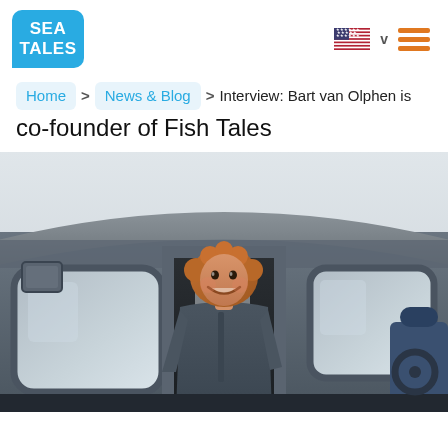SEA TALES
Home > News & Blog > Interview: Bart van Olphen is co-founder of Fish Tales
Interview: Bart van Olphen is co-founder of Fish Tales
[Figure (photo): A smiling man with curly red hair wearing a dark hoodie, standing in the doorway of a fishing boat cabin with rounded windows on either side]